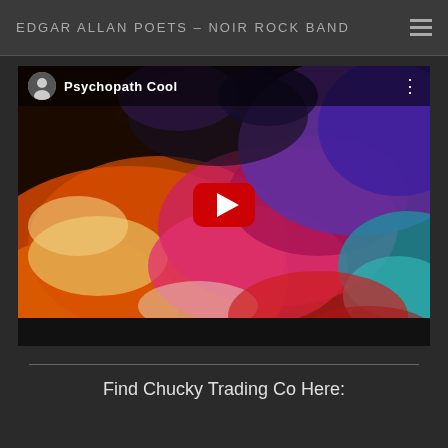EDGAR ALLAN POETS – NOIR ROCK BAND
[Figure (screenshot): YouTube video thumbnail for 'Psychopath Cool' by Edgar Allan Poets showing a colorful abstract painting with a YouTube play button overlay. The image has swirling colors of orange, yellow, red, pink, purple, and teal.]
Find Chucky Trading Co Here: